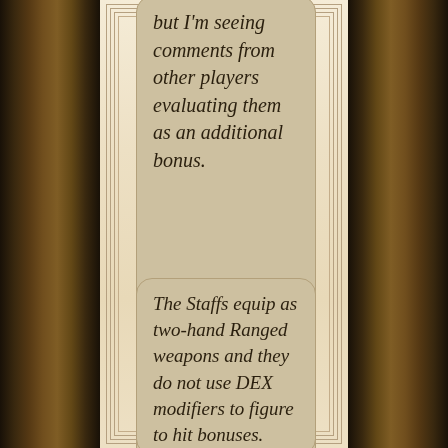but I'm seeing comments from other players evaluating them as an additional bonus.
The Staffs equip as two-hand Ranged weapons and they do not use DEX modifiers to figure to hit bonuses.